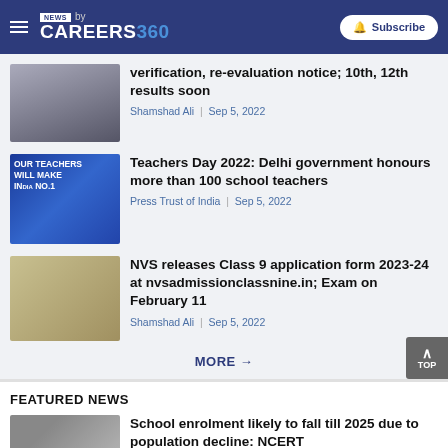NEWS by CAREERS360 | Subscribe
[Figure (photo): Students in school uniforms grouped together]
verification, re-evaluation notice; 10th, 12th results soon
Shamshad Ali | Sep 5, 2022
[Figure (photo): OUR TEACHERS WILL MAKE INDIA NO.1 banner with speaker at podium]
Teachers Day 2022: Delhi government honours more than 100 school teachers
Press Trust of India | Sep 5, 2022
[Figure (photo): Students studying at desks]
NVS releases Class 9 application form 2023-24 at nvsadmissionclassnine.in; Exam on February 11
Shamshad Ali | Sep 5, 2022
MORE →
FEATURED NEWS
[Figure (photo): Children in classroom]
School enrolment likely to fall till 2025 due to population decline: NCERT